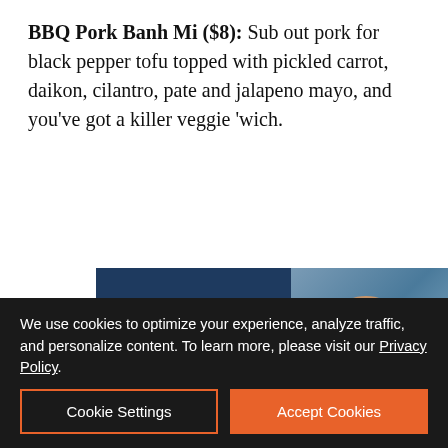BBQ Pork Banh Mi ($8): Sub out pork for black pepper tofu topped with pickled carrot, daikon, cilantro, pate and jalapeno mayo, and you've got a killer veggie 'wich.
[Figure (illustration): Advertisement banner with dark blue background on left side showing text 'Helping your business grow. As simple as that.' in light blue, and a photo of a man in an apron with produce on the right side.]
We use cookies to optimize your experience, analyze traffic, and personalize content. To learn more, please visit our Privacy Policy.